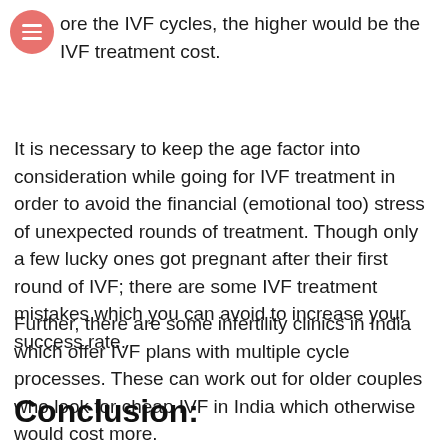ore the IVF cycles, the higher would be the IVF treatment cost.
It is necessary to keep the age factor into consideration while going for IVF treatment in order to avoid the financial (emotional too) stress of unexpected rounds of treatment. Though only a few lucky ones got pregnant after their first round of IVF; there are some IVF treatment mistakes which you can avoid to increase your success rate.
Further, there are some infertility clinics in India which offer IVF plans with multiple cycle processes. These can work out for older couples who look for cheap IVF in India which otherwise would cost more.
Conclusion: